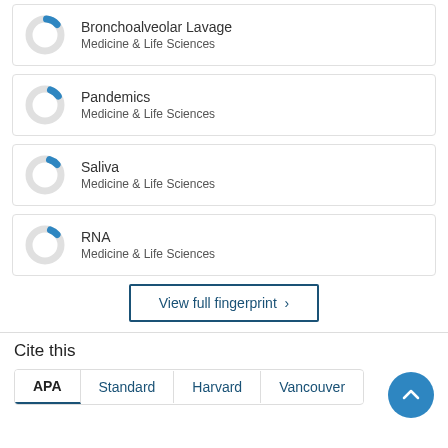[Figure (donut-chart): Small donut chart icon with blue segment, for Bronchoalveolar Lavage]
Bronchoalveolar Lavage
Medicine & Life Sciences
[Figure (donut-chart): Small donut chart icon with blue segment, for Pandemics]
Pandemics
Medicine & Life Sciences
[Figure (donut-chart): Small donut chart icon with blue segment, for Saliva]
Saliva
Medicine & Life Sciences
[Figure (donut-chart): Small donut chart icon with blue segment, for RNA]
RNA
Medicine & Life Sciences
View full fingerprint ›
Cite this
APA   Standard   Harvard   Vancouver